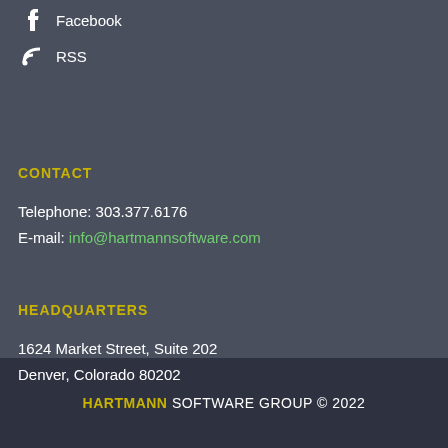Facebook
RSS
CONTACT
Telephone: 303.377.6176
E-mail: info@hartmannsoftware.com
HEADQUARTERS
1624 Market Street, Suite 202
Denver, Colorado 80202
HARTMANN SOFTWARE GROUP © 2022